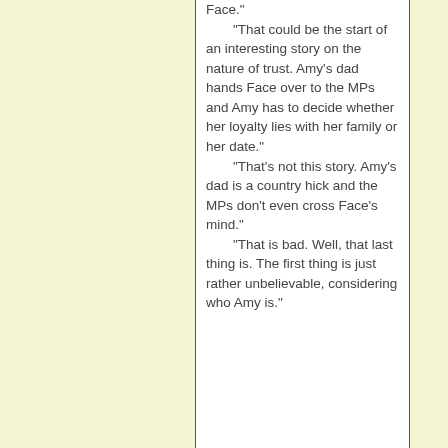Face." "That could be the start of an interesting story on the nature of trust. Amy's dad hands Face over to the MPs and Amy has to decide whether her loyalty lies with her family or her date." "That's not this story. Amy's dad is a country hick and the MPs don't even cross Face's mind." "That is bad. Well, that last thing is. The first thing is just rather unbelievable, considering who Amy is."